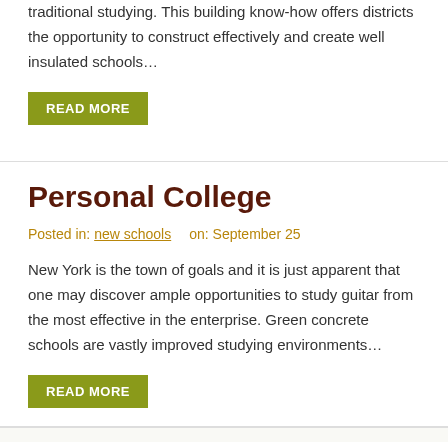traditional studying. This building know-how offers districts the opportunity to construct effectively and create well insulated schools…
READ MORE
Personal College
Posted in: new schools    on: September 25
New York is the town of goals and it is just apparent that one may discover ample opportunities to study guitar from the most effective in the enterprise. Green concrete schools are vastly improved studying environments…
READ MORE